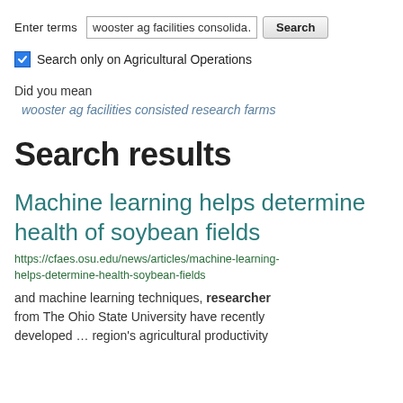Enter terms [search input: wooster ag facilities consolida...] [Search button]
Search only on Agricultural Operations
Did you mean
wooster ag facilities consisted research farms
Search results
Machine learning helps determine health of soybean fields
https://cfaes.osu.edu/news/articles/machine-learning-helps-determine-health-soybean-fields
and machine learning techniques, researchers from The Ohio State University have recently developed … region's agricultural productivity